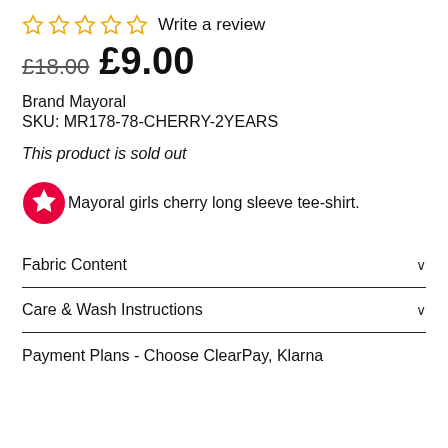☆ ☆ ☆ ☆ ☆ Write a review
£18.00  £9.00
Brand Mayoral
SKU: MR178-78-CHERRY-2YEARS
This product is sold out
Mayoral girls cherry long sleeve tee-shirt.
Fabric Content
Care & Wash Instructions
Payment Plans - Choose ClearPay, Klarna